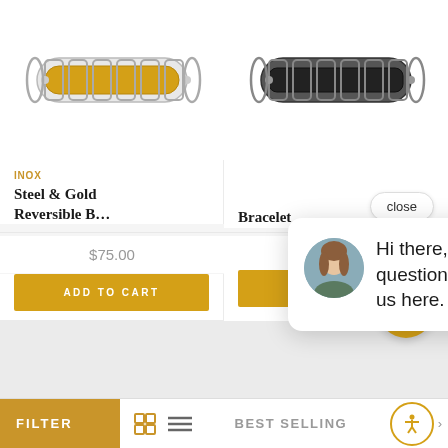[Figure (photo): Gold and silver chain link bracelet product image]
[Figure (photo): Black and silver chain link bracelet product image]
INOX
Steel & Gold Reversible B…
Bracelet
$75.00
ADD TO CART
$75.00
ADD TO CART
[Figure (screenshot): Chat widget popup with avatar and message: Hi there, have a question? Text us here.]
close
FILTER
BEST SELLING